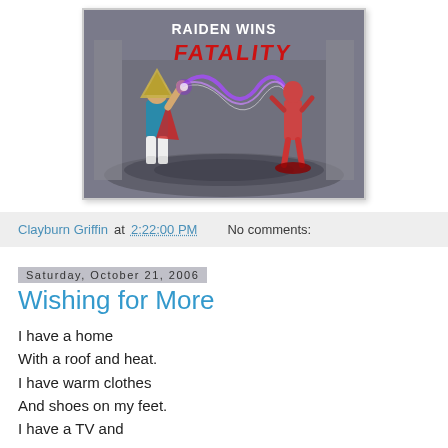[Figure (screenshot): Mortal Kombat video game screenshot showing 'RAIDEN WINS FATALITY' with Raiden character on the left and a defeated enemy on the right, lightning bolt connecting them, set in a dark arena background.]
Clayburn Griffin at 2:22:00 PM   No comments:
Saturday, October 21, 2006
Wishing for More
I have a home
With a roof and heat.
I have warm clothes
And shoes on my feet.
I have a TV and